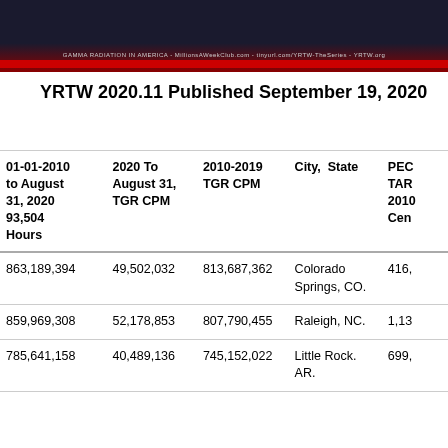[Figure (photo): Dark banner image with starfield/smoke background, red stripe at bottom, and text: GAMMA RADIATION IN AMERICA - MillionsAWeekClub.com - tinyurl.com/YRTW-TheSeries - YRTW.org]
YRTW 2020.11 Published September 19, 2020
| 01-01-2010 to August 31, 2020 93,504 Hours | 2020 To August 31, TGR CPM | 2010-2019 TGR CPM | City, State | PEC TAR 2010 Cen |
| --- | --- | --- | --- | --- |
| 863,189,394 | 49,502,032 | 813,687,362 | Colorado Springs, CO. | 416, |
| 859,969,308 | 52,178,853 | 807,790,455 | Raleigh, NC. | 1,13 |
| 785,641,158 | 40,489,136 | 745,152,022 | Little Rock. AR. | 699, |